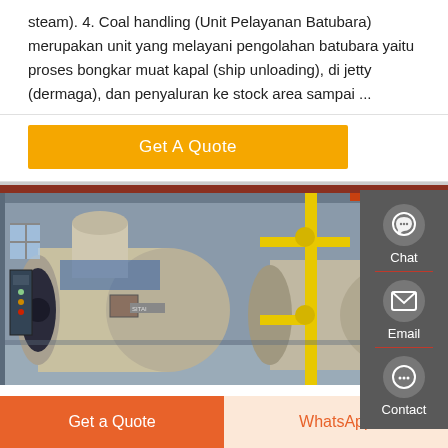steam). 4. Coal handling (Unit Pelayanan Batubara) merupakan unit yang melayani pengolahan batubara yaitu proses bongkar muat kapal (ship unloading), di jetty (dermaga), dan penyaluran ke stock area sampai ...
Get A Quote
[Figure (photo): Industrial boiler room with large horizontal cylindrical boilers, yellow gas pipes, and industrial equipment in a factory setting]
[Figure (infographic): Side panel with Chat, Email, and Contact icons on dark grey background]
Get a Quote
WhatsApp